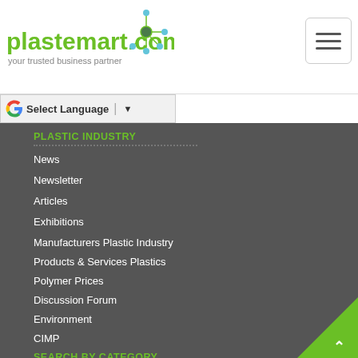[Figure (logo): Plastemart.com logo with green text and molecule icon, tagline: your trusted business partner]
Select Language
PLASTIC INDUSTRY
News
Newsletter
Articles
Exhibitions
Manufacturers Plastic Industry
Products & Services Plastics
Polymer Prices
Discussion Forum
Environment
CIMP
SEARCH BY CATEGORY